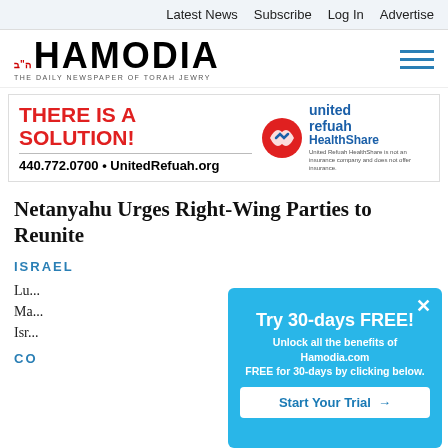Latest News  Subscribe  Log In  Advertise
[Figure (logo): Hamodia logo - THE DAILY NEWSPAPER OF TORAH JEWRY with Hebrew text]
[Figure (infographic): United Refuah HealthShare advertisement: THERE IS A SOLUTION! 440.772.0700 • UnitedRefuah.org with United Refuah HealthShare logo and disclaimer text]
Netanyahu Urges Right-Wing Parties to Reunite
ISRAEL
Lu... Ma... Isr...
CO
[Figure (screenshot): Popup overlay: Try 30-days FREE! Unlock all the benefits of Hamodia.com FREE for 30-days by clicking below. Start Your Trial →]